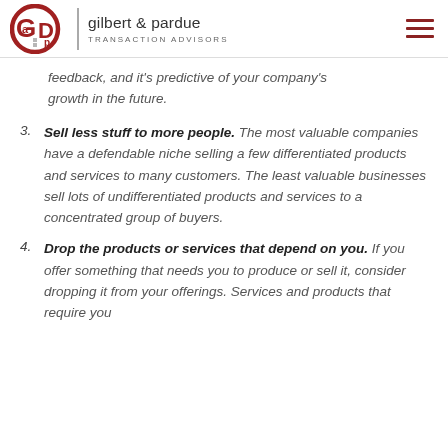gilbert & pardue TRANSACTION ADVISORS
feedback, and it's predictive of your company's growth in the future.
3. Sell less stuff to more people. The most valuable companies have a defendable niche selling a few differentiated products and services to many customers. The least valuable businesses sell lots of undifferentiated products and services to a concentrated group of buyers.
4. Drop the products or services that depend on you. If you offer something that needs you to produce or sell it, consider dropping it from your offerings. Services and products that require you